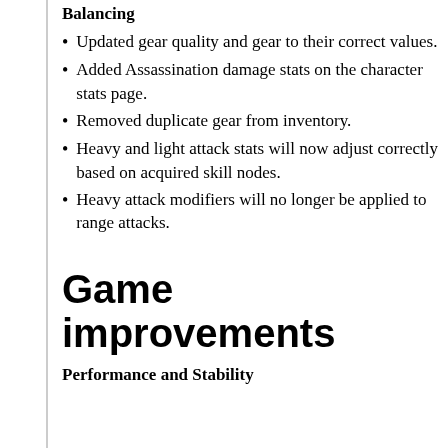Balancing
Updated gear quality and gear to their correct values.
Added Assassination damage stats on the character stats page.
Removed duplicate gear from inventory.
Heavy and light attack stats will now adjust correctly based on acquired skill nodes.
Heavy attack modifiers will no longer be applied to range attacks.
Game improvements
Performance and Stability